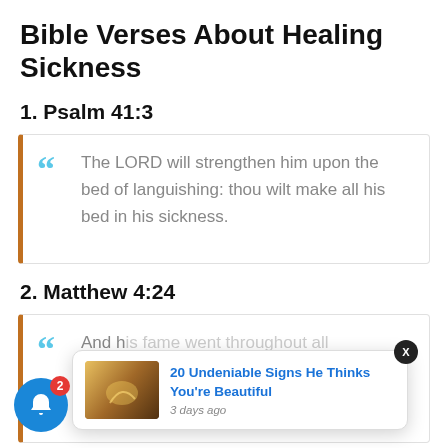Bible Verses About Healing Sickness
1. Psalm 41:3
The LORD will strengthen him upon the bed of languishing: thou wilt make all his bed in his sickness.
2. Matthew 4:24
And his fame went throughout all Syria: ... sick people ... divers diseases and torments, and
[Figure (screenshot): Notification popup overlay reading '20 Undeniable Signs He Thinks You're Beautiful' with thumbnail image and '3 days ago' timestamp. A blue notification bell with badge '2' is in the corner.]